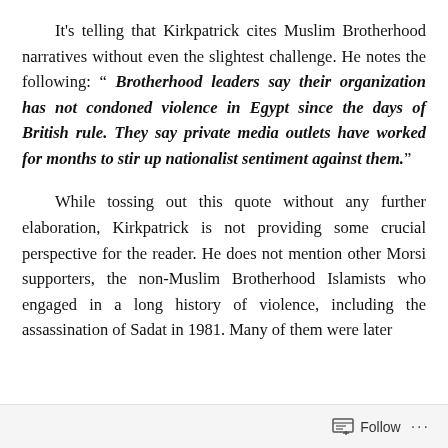It's telling that Kirkpatrick cites Muslim Brotherhood narratives without even the slightest challenge. He notes the following: " Brotherhood leaders say their organization has not condoned violence in Egypt since the days of British rule. They say private media outlets have worked for months to stir up nationalist sentiment against them."
While tossing out this quote without any further elaboration, Kirkpatrick is not providing some crucial perspective for the reader. He does not mention other Morsi supporters, the non-Muslim Brotherhood Islamists who engaged in a long history of violence, including the assassination of Sadat in 1981. Many of them were later
Follow ···